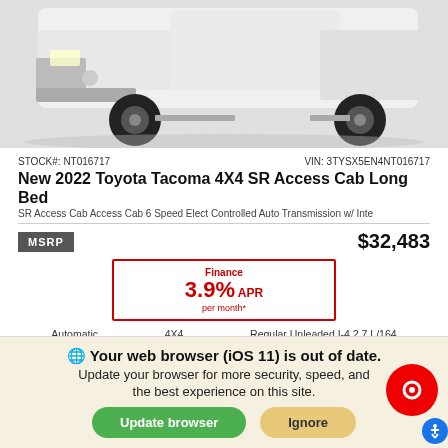[Figure (photo): Front/side view of a white 2022 Toyota Tacoma truck on white background]
STOCK#: NT016717    VIN: 3TYSX5EN4NT016717
New 2022 Toyota Tacoma 4X4 SR Access Cab Long Bed
SR Access Cab Access Cab 6 Speed Elect Controlled Auto Transmission w/ Inte
MSRP   $32,483
Finance 3.9% APR per month*
Automatic   4X4   Regular Unleaded I-4 2.7 L/164
Key Features
[Figure (infographic): Key features icons row: 4-Wheel Drive or Locking feature, ABS Brakes, Steering Wheel controls, Wi-Fi, Cruise Control]
Your web browser (iOS 11) is out of date. Update your browser for more security, speed, and the best experience on this site.
Update browser   Ignore